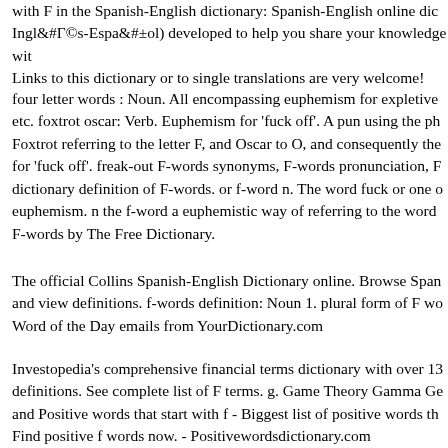with F in the Spanish-English dictionary: Spanish-English online dic... Inglés-Español) developed to help you share your knowledge wit... Links to this dictionary or to single translations are very welcome!
four letter words : Noun. All encompassing euphemism for expletive... etc. foxtrot oscar: Verb. Euphemism for 'fuck off'. A pun using the ph... Foxtrot referring to the letter F, and Oscar to O, and consequently the... for 'fuck off'. freak-out F-words synonyms, F-words pronunciation, F... dictionary definition of F-words. or f-word n. The word fuck or one o... euphemism. n the f-word a euphemistic way of referring to the word... F-words by The Free Dictionary.
The official Collins Spanish-English Dictionary online. Browse Span... and view definitions. f-words definition: Noun 1. plural form of F wo... Word of the Day emails from YourDictionary.com
Investopedia's comprehensive financial terms dictionary with over 13... definitions. See complete list of F terms. g. Game Theory Gamma Ge... and Positive words that start with f - Biggest list of positive words th... Find positive f words now. - Positivewordsdictionary.com